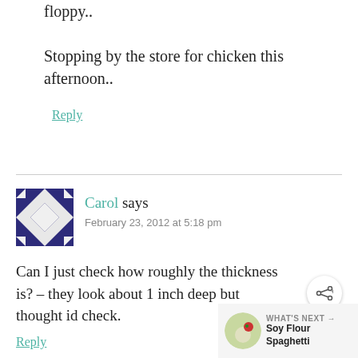floppy..
Stopping by the store for chicken this afternoon..
Reply
[Figure (illustration): User avatar for Carol — decorative geometric quilt-style pattern in navy blue and white]
Carol says
February 23, 2012 at 5:18 pm
Can I just check how roughly the thickness is? – they look about 1 inch deep but thought id check.
Reply